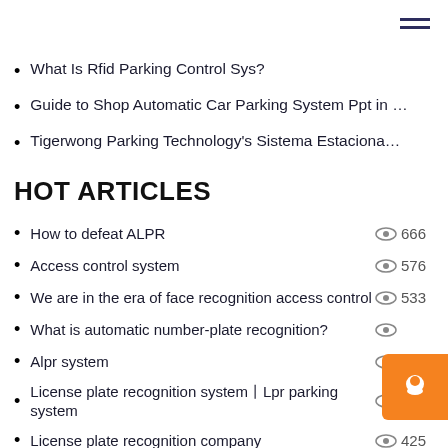What Is Rfid Parking Control Sys?
Guide to Shop Automatic Car Parking System Ppt in …
Tigerwong Parking Technology's Sistema Estaciona…
HOT ARTICLES
How to defeat ALPR  666
Access control system  576
We are in the era of face recognition access control  533
What is automatic number-plate recognition?  513
Alpr system  438
License plate recognition system丨Lpr parking system  432
License plate recognition company  425